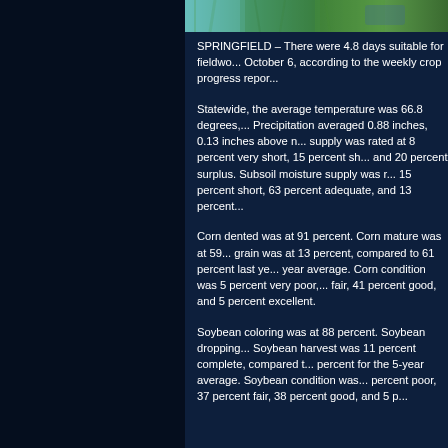[Figure (photo): Partial crop field photo strip at the top of the page showing green vegetation]
SPRINGFIELD – There were 4.8 days suitable for fieldwo... October 6, according to the weekly crop progress repor...
Statewide, the average temperature was 66.8 degrees,... Precipitation averaged 0.88 inches, 0.13 inches above n... supply was rated at 8 percent very short, 15 percent sh... and 20 percent surplus. Subsoil moisture supply was r... 15 percent short, 63 percent adequate, and 13 percent...
Corn dented was at 91 percent. Corn mature was at 59... grain was at 13 percent, compared to 61 percent last ye... year average. Corn condition was 5 percent very poor,... fair, 41 percent good, and 5 percent excellent.
Soybean coloring was at 88 percent. Soybean dropping... Soybean harvest was 11 percent complete, compared t... percent for the 5-year average. Soybean condition was... percent poor, 37 percent fair, 38 percent good, and 5 p...